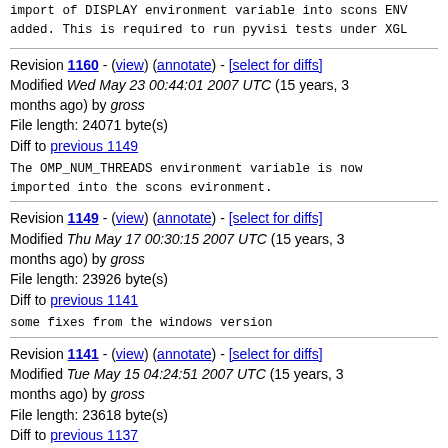import of DISPLAY environment variable into scons ENV added. This is required to run pyvisi tests under XGL
Revision 1160 - (view) (annotate) - [select for diffs] Modified Wed May 23 00:44:01 2007 UTC (15 years, 3 months ago) by gross File length: 24071 byte(s) Diff to previous 1149
The OMP_NUM_THREADS environment variable is now imported into the scons evironment.
Revision 1149 - (view) (annotate) - [select for diffs] Modified Thu May 17 00:30:15 2007 UTC (15 years, 3 months ago) by gross File length: 23926 byte(s) Diff to previous 1141
some fixes from the windows version
Revision 1141 - (view) (annotate) - [select for diffs] Modified Tue May 15 04:24:51 2007 UTC (15 years, 3 months ago) by gross File length: 23618 byte(s) Diff to previous 1137